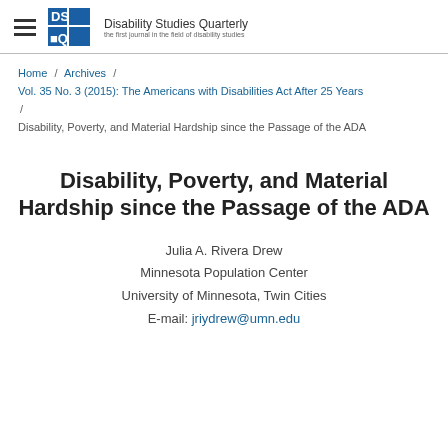DSQ — Disability Studies Quarterly — the first journal in the field of disability studies
Home / Archives / Vol. 35 No. 3 (2015): The Americans with Disabilities Act After 25 Years / Disability, Poverty, and Material Hardship since the Passage of the ADA
Disability, Poverty, and Material Hardship since the Passage of the ADA
Julia A. Rivera Drew
Minnesota Population Center
University of Minnesota, Twin Cities
E-mail: jriydrew@umn.edu